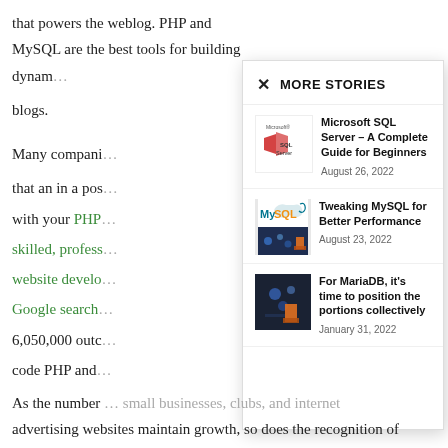that powers the weblog. PHP and MySQL are the best tools for building dynam… blogs.
Many compani… that an in a pos… with your PHP… skilled, profess… website develo… Google search… 6,050,000 outc… code PHP and…
MORE STORIES
[Figure (logo): Microsoft SQL Server logo]
Microsoft SQL Server – A Complete Guide for Beginners
August 26, 2022
[Figure (illustration): MySQL logo on white background above dark tech image]
Tweaking MySQL for Better Performance
August 23, 2022
For MariaDB, it’s time to position the portions collectively
January 31, 2022
As the number … small businesses, clubs, and internet advertising websites maintain growth, so does the recognition of